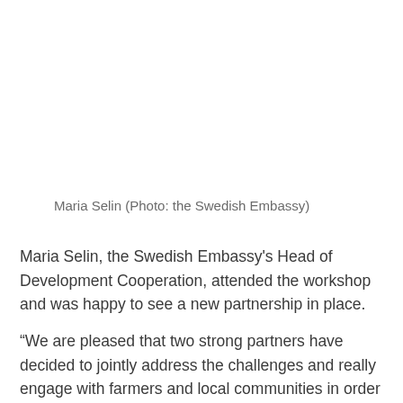Maria Selin (Photo: the Swedish Embassy)
Maria Selin, the Swedish Embassy's Head of Development Cooperation, attended the workshop and was happy to see a new partnership in place.
“We are pleased that two strong partners have decided to jointly address the challenges and really engage with farmers and local communities in order to strengthen resilience to climate change,” Selin said.